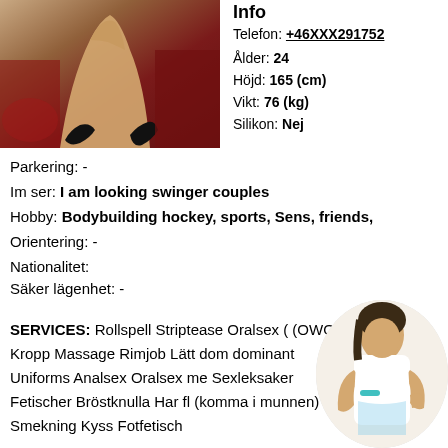[Figure (photo): Photo of a person on a red background]
Info
Telefon: +46XXX291752
Ålder: 24
Höjd: 165 (cm)
Vikt: 76 (kg)
Silikon: Nej
Parkering: -
Im ser: I am looking swinger couples
Hobby: Bodybuilding hockey, sports, Sens, friends,
Orientering: -
Nationalitet:
Säker lägenhet: -
SERVICES: Rollspell Striptease Oralsex (OWO) Kropp Massage Rimjob Lätt dominant Uniforms Analsex Oralsex me Sexleksaker Fetischer Bröstknulla Har fl (komma i munnen) Smekning Kyss Fotfetisch
[Figure (photo): Small circular photo of a person in white outfit]